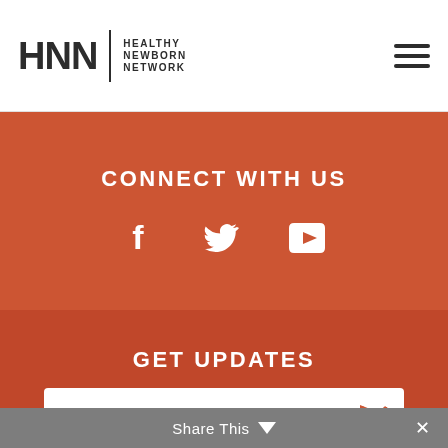HNN HEALTHY NEWBORN NETWORK
CONNECT WITH US
[Figure (other): Social media icons: Facebook, Twitter, YouTube on orange/red background]
GET UPDATES
Email Address
Share This  ×